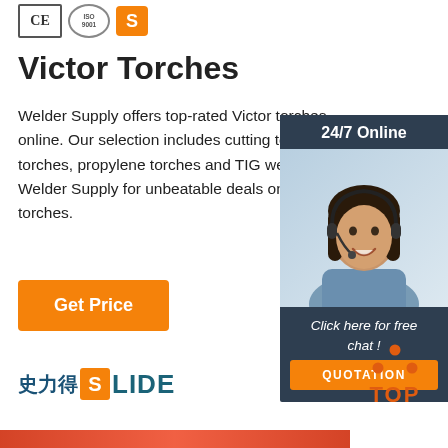[Figure (logo): CE certification logo, ISO certification seal, and orange S badge/logo marks]
Victor Torches
Welder Supply offers top-rated Victor torches online. Our selection includes cutting torches, torches, propylene torches and TIG welding Welder Supply for unbeatable deals on Victor torches.
[Figure (illustration): 24/7 Online chat widget with a photo of a smiling woman with a headset, dark blue background, 'Click here for free chat!' text, and an orange QUOTATION button]
[Figure (logo): 史力得 SLIDE company logo with orange S icon and teal/blue text]
[Figure (illustration): Orange dots triangle and TOP text button in bottom right corner]